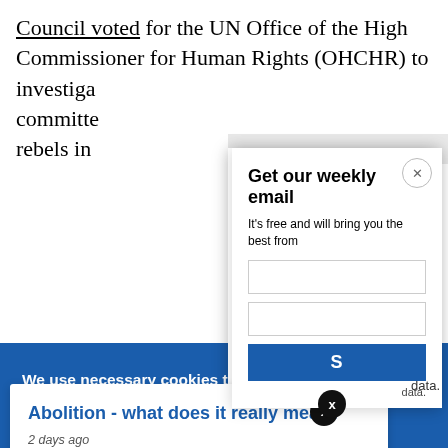Council voted for the UN Office of the High Commissioner for Human Rights (OHCHR) to investigate [partially obscured] committed [partially obscured] rebels in [partially obscured]
[Figure (screenshot): Email newsletter signup modal popup with title 'Get our weekly email' and text 'It’s free and will bring you the best from']
[Figure (screenshot): Cookie consent banner overlay in blue: 'We use necessary cookies that allow our site to work. We also set optional cookies that help us improve our website. For more information about the types of cookies we use. READ OUR COOKIES POLICY HERE' with COOKIE and ALLOW buttons]
[Figure (screenshot): Browser notification popup card: 'Abolition - what does it really mean?' with timestamp '2 days ago' and a black X close button]
data.
identified